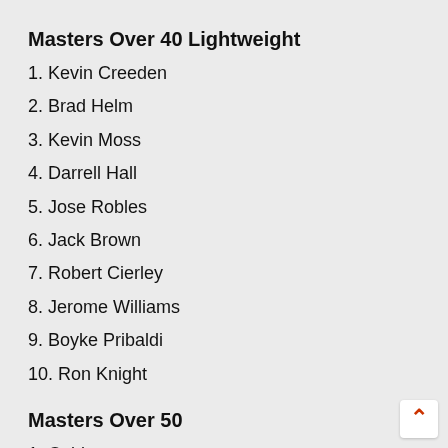Masters Over 40 Lightweight
1. Kevin Creeden
2. Brad Helm
3. Kevin Moss
4. Darrell Hall
5. Jose Robles
6. Jack Brown
7. Robert Cierley
8. Jerome Williams
9. Boyke Pribaldi
10. Ron Knight
Masters Over 50
1. Osiris
2. Greg Grant